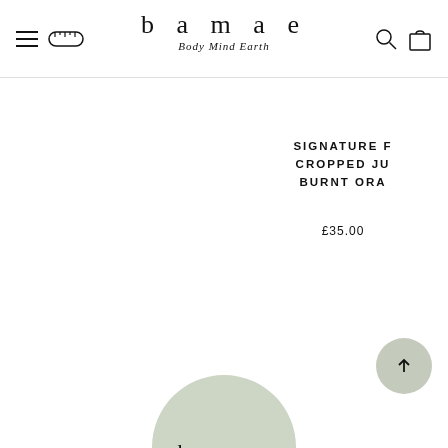[Figure (logo): Bamae website header with hamburger menu icon, tape measure icon, 'bamae' logo text with 'Body Mind Earth' subtitle, search icon, and shopping bag icon]
SIGNATURE F... CROPPED JU... BURNT ORA...
£35.00
[Figure (logo): Circular sage green badge with 'bamae' text in spaced serif letters]